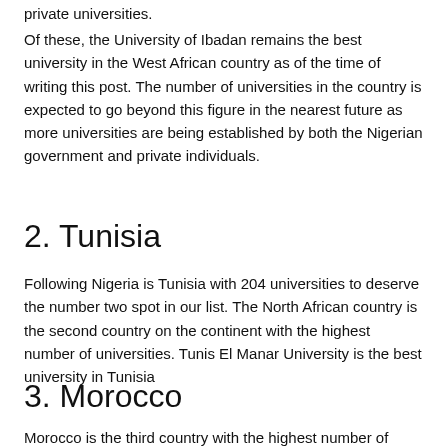private universities.
Of these, the University of Ibadan remains the best university in the West African country as of the time of writing this post. The number of universities in the country is expected to go beyond this figure in the nearest future as more universities are being established by both the Nigerian government and private individuals.
2. Tunisia
Following Nigeria is Tunisia with 204 universities to deserve the number two spot in our list. The North African country is the second country on the continent with the highest number of universities. Tunis El Manar University is the best university in Tunisia
3. Morocco
Morocco is the third country with the highest number of universities